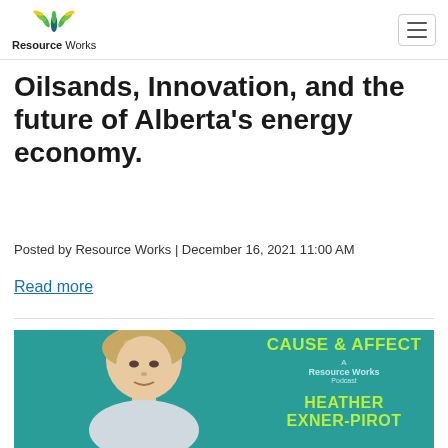Resource Works
Oilsands, Innovation, and the future of Alberta's energy economy.
Posted by Resource Works | December 16, 2021 11:00 AM
Read more
[Figure (photo): Podcast promotional image with teal background showing a woman (Heather Exner-Pirot) and the Cause & Affect / A Resource Works Podcast logo in yellow-green text]